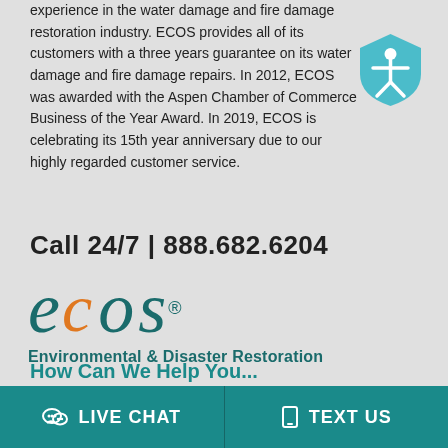experience in the water damage and fire damage restoration industry. ECOS provides all of its customers with a three years guarantee on its water damage and fire damage repairs. In 2012, ECOS was awarded with the Aspen Chamber of Commerce Business of the Year Award. In 2019, ECOS is celebrating its 15th year anniversary due to our highly regarded customer service.
[Figure (illustration): Accessibility shield icon with person figure, teal/blue color]
Call 24/7 | 888.682.6204
[Figure (logo): ECOS Environmental & Disaster Restoration logo with stylized letters in teal and orange]
How Can We Help You?
LIVE CHAT
TEXT US